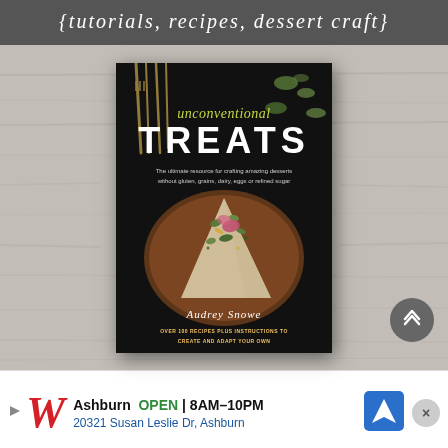{tutorials, recipes, dessert craft}
[Figure (photo): Book cover of 'Unconventional Treats' by Audrey Snowe, showing a dessert slice with pistachios and rose petals on a dark plate, displayed on a wooden background. Tagline: The ultimate resource for crafting amazing desserts without gluten, grains, dairy, eggs or refined sugar. Over 100 recipes plus instructions to create and adapt your own.]
Ashburn OPEN 8AM–10PM 20321 Susan Leslie Dr, Ashburn